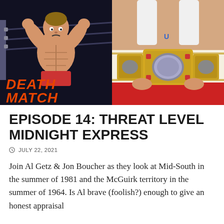[Figure (illustration): Two side-by-side images: left shows a cartoon illustration of a muscular wrestler flexing in a wrestling ring with 'DEATH MATCH' written in orange graffiti-style text on a dark background; right shows a photograph of a wrestler holding a championship belt with ornate design]
EPISODE 14: THREAT LEVEL MIDNIGHT EXPRESS
JULY 22, 2021
Join Al Getz & Jon Boucher as they look at Mid-South in the summer of 1981 and the McGuirk territory in the summer of 1964. Is Al brave (foolish?) enough to give an honest appraisal